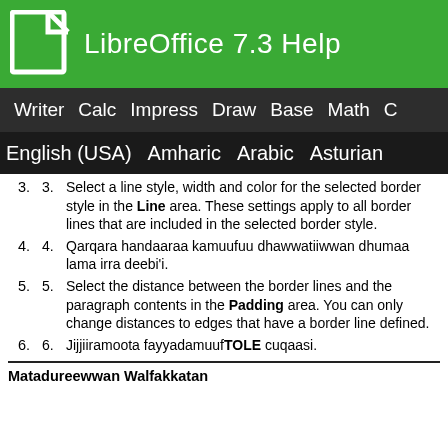LibreOffice 7.3 Help
Writer  Calc  Impress  Draw  Base  Math  C
English (USA)  Amharic  Arabic  Asturian
3. Select a line style, width and color for the selected border style in the Line area. These settings apply to all border lines that are included in the selected border style.
4. Qarqara handaaraa kamuufuu dhawwatiiwwan dhumaa lama irra deebi'i.
5. Select the distance between the border lines and the paragraph contents in the Padding area. You can only change distances to edges that have a border line defined.
6. Jijjiiramoota fayyadamuuf TOLE cuqaasi.
Matadureewwan Walfakkatan